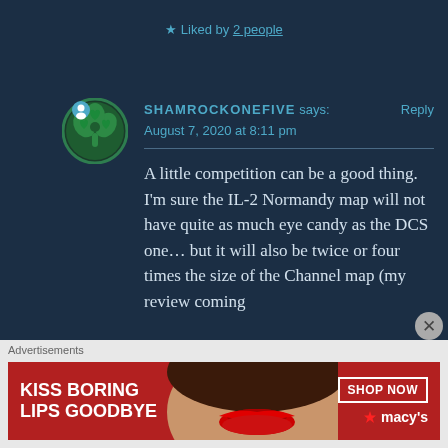★ Liked by 2 people
SHAMROCKONEFIVE says:
August 7, 2020 at 8:11 pm
A little competition can be a good thing. I'm sure the IL-2 Normandy map will not have quite as much eye candy as the DCS one… but it will also be twice or four times the size of the Channel map (my review coming
[Figure (illustration): Advertisement banner: red background with 'KISS BORING LIPS GOODBYE' text on left, woman's face photo in center, 'SHOP NOW' button and macy's logo on right]
Advertisements